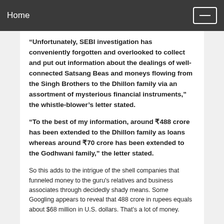Home
“Unfortunately, SEBI investigation has conveniently forgotten and overlooked to collect and put out information about the dealings of well-connected Satsang Beas and moneys flowing from the Singh Brothers to the Dhillon family via an assortment of mysterious financial instruments,” the whistle-blower’s letter stated.
“To the best of my information, around ₹488 crore has been extended to the Dhillon family as loans whereas around ₹70 crore has been extended to the Godhwani family,” the letter stated.
So this adds to the intrigue of the shell companies that funneled money to the guru's relatives and business associates through decidedly shady means. Some Googling appears to reveal that 488 crore in rupees equals about $68 million in U.S. dollars. That's a lot of money.